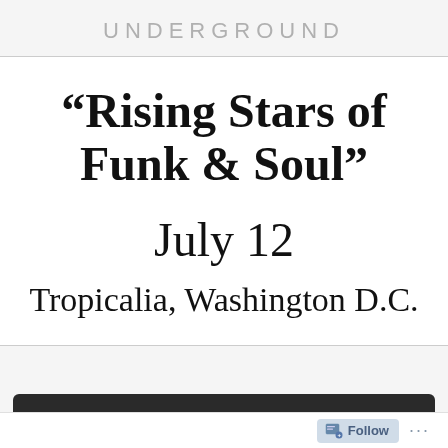UNDERGROUND
“Rising Stars of Funk & Soul”
July 12
Tropicalia, Washington D.C.
[Figure (photo): Dark image bar at bottom of page]
Follow ...